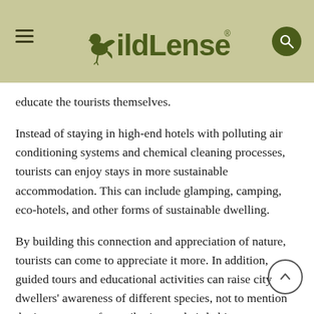WildLense
educate the tourists themselves.
Instead of staying in high-end hotels with polluting air conditioning systems and chemical cleaning processes, tourists can enjoy stays in more sustainable accommodation. This can include glamping, camping, eco-hotels, and other forms of sustainable dwelling.
By building this connection and appreciation of nature, tourists can come to appreciate it more. In addition, guided tours and educational activities can raise city dwellers' awareness of different species, not to mention the importance of contributing to their habitats.
Boosting conservation projects